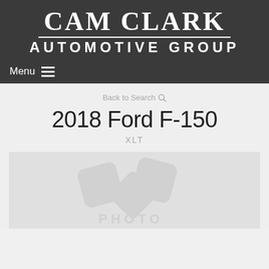[Figure (logo): Cam Clark Automotive Group logo — white serif text on dark gray background, with a horizontal rule divider between 'CAM CLARK' and 'AUTOMOTIVE GROUP']
Menu ☰
Back to Search 🔍
2018 Ford F-150
XLT
[Figure (photo): Vehicle photo placeholder with camera/photo icon and partial text 'PHOTO']